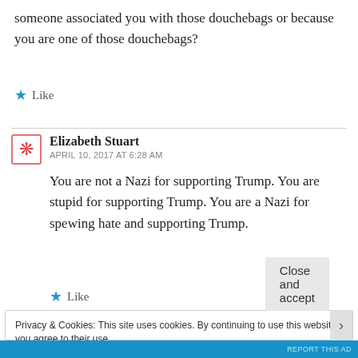someone associated you with those douchebags or because you are one of those douchebags?
★ Like
Elizabeth Stuart
APRIL 10, 2017 AT 6:28 AM
You are not a Nazi for supporting Trump. You are stupid for supporting Trump. You are a Nazi for spewing hate and supporting Trump.
★ Like
Privacy & Cookies: This site uses cookies. By continuing to use this website, you agree to their use.
To find out more, including how to control cookies, see here: Cookie Policy
Close and accept